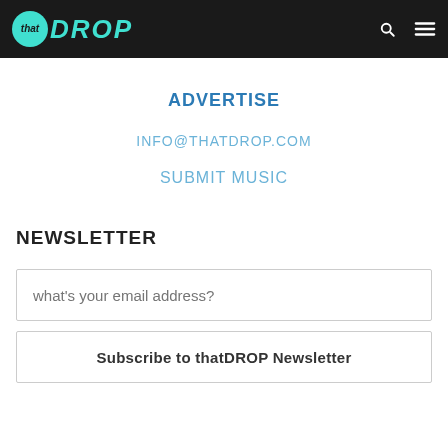thatDROP
ADVERTISE
INFO@THATDROP.COM
SUBMIT MUSIC
NEWSLETTER
what's your email address?
Subscribe to thatDROP Newsletter